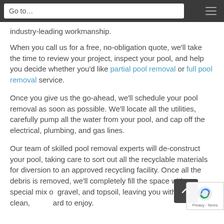Go to…
industry-leading workmanship.
When you call us for a free, no-obligation quote, we'll take the time to review your project, inspect your pool, and help you decide whether you'd like partial pool removal or full pool removal service.
Once you give us the go-ahead, we'll schedule your pool removal as soon as possible. We'll locate all the utilities, carefully pump all the water from your pool, and cap off the electrical, plumbing, and gas lines.
Our team of skilled pool removal experts will de-construct your pool, taking care to sort out all the recyclable materials for diversion to an approved recycling facility. Once all the debris is removed, we'll completely fill the space with a special mix of gravel, and topsoil, leaving you with a clean, hard to enjoy.